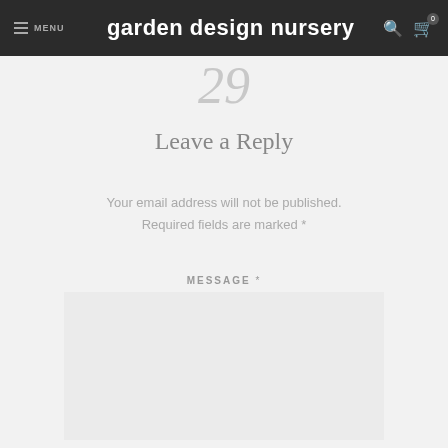MENU  garden design nursery
29
Leave a Reply
Your email address will not be published. Required fields are marked *
MESSAGE *